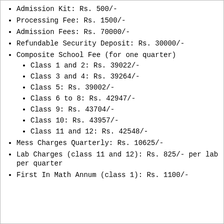Admission Kit: Rs. 500/-
Processing Fee: Rs. 1500/-
Admission Fees: Rs. 70000/-
Refundable Security Deposit: Rs. 30000/-
Composite School Fee (for one quarter)
Class 1 and 2: Rs. 39022/-
Class 3 and 4: Rs. 39264/-
Class 5: Rs. 39002/-
Class 6 to 8: Rs. 42947/-
Class 9: Rs. 43704/-
Class 10: Rs. 43957/-
Class 11 and 12: Rs. 42548/-
Mess Charges Quarterly: Rs. 10625/-
Lab Charges (class 11 and 12): Rs. 825/- per lab per quarter
First In Math Annum (class 1): Rs. 1100/-